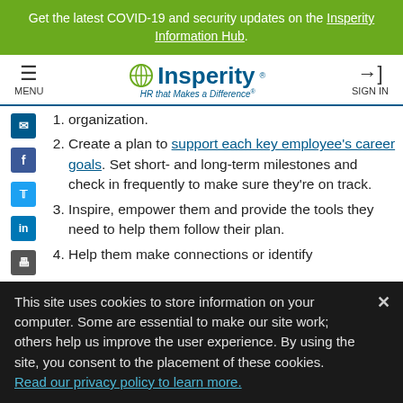Get the latest COVID-19 and security updates on the Insperity Information Hub.
[Figure (logo): Insperity logo with globe icon and tagline 'HR that Makes a Difference']
organization.
Create a plan to support each key employee's career goals. Set short- and long-term milestones and check in frequently to make sure they're on track.
Inspire, empower them and provide the tools they need to help them follow their plan.
Help them make connections or identify
This site uses cookies to store information on your computer. Some are essential to make our site work; others help us improve the user experience. By using the site, you consent to the placement of these cookies. Read our privacy policy to learn more.